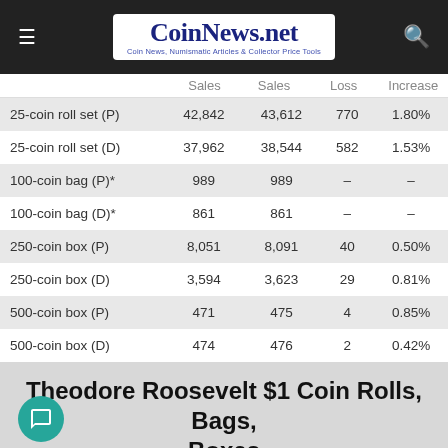CoinNews.net — Coin News, Numismatic Articles & Collector Price Tools
|  | Old Sales | Latest Sales | Gain/Loss | % Increase |
| --- | --- | --- | --- | --- |
| 25-coin roll set (P) | 42,842 | 43,612 | 770 | 1.80% |
| 25-coin roll set (D) | 37,962 | 38,544 | 582 | 1.53% |
| 100-coin bag (P)* | 989 | 989 | – | – |
| 100-coin bag (D)* | 861 | 861 | – | – |
| 250-coin box (P) | 8,051 | 8,091 | 40 | 0.50% |
| 250-coin box (D) | 3,594 | 3,623 | 29 | 0.81% |
| 500-coin box (P) | 471 | 475 | 4 | 0.85% |
| 500-coin box (D) | 474 | 476 | 2 | 0.42% |
Theodore Roosevelt $1 Coin Rolls, Bags, Boxes
| 5 | Old Sales | Latest Sales | Gain/Loss | % Increase |
| --- | --- | --- | --- | --- |
| 25-coin roll set (P) | 49,202 | 49,645 | 443 | 0.90% |
| 25-coin roll set (D) | 40,000 | 44,010 | 317 | 0.79% |